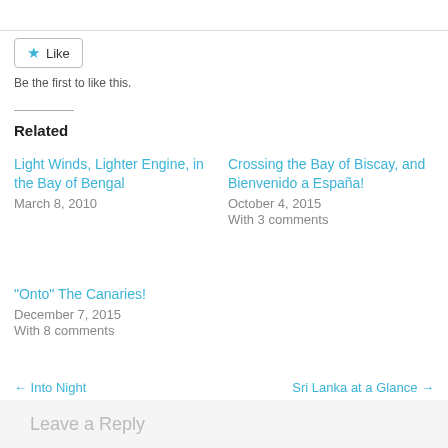Like
Be the first to like this.
Related
Light Winds, Lighter Engine, in the Bay of Bengal
March 8, 2010
Crossing the Bay of Biscay, and Bienvenido a España!
October 4, 2015
With 3 comments
"Onto" The Canaries!
December 7, 2015
With 8 comments
← Into Night
Sri Lanka at a Glance →
Leave a Reply